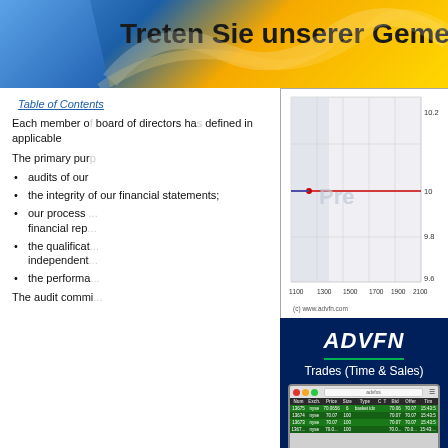[Figure (illustration): Banner with blue gradient on left and gold/yellow gradient on right, text 'Treten Sie unserer Gemeinsc...' (partially visible)]
Table of Contents
Each member of the board of directors ha... defined in applicable...
The primary pur...
audits of our...
the integrity of our financial statements;
our process... financial rep...
the qualifica... independent...
the performa...
The audit commi...
[Figure (continuous-plot): Stock price chart with x-axis showing values 1100-2100 and y-axis showing 9.6-10.2, with a horizontal red/blue line near 10, shaded region, watermark 'Pre', caption '(c) www.advfn.com']
[Figure (screenshot): ADVFN advertisement showing logo, 'Trades (Time & Sales)' subtitle, and a screenshot of a trading table with columns Num, Exch., Price, Size, Type, C, T, Bid, Offer, Time on a dark blue background with green table rows]